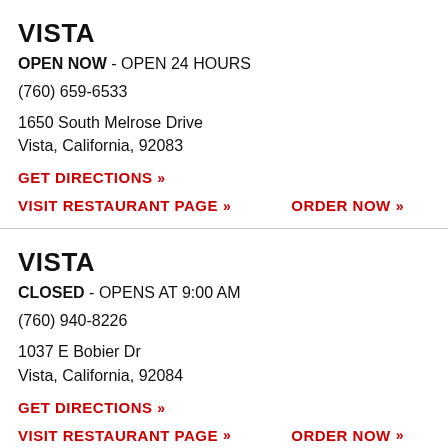VISTA
OPEN NOW - OPEN 24 HOURS
(760) 659-6533
1650 South Melrose Drive
Vista, California, 92083
GET DIRECTIONS »
VISIT RESTAURANT PAGE »    ORDER NOW »
VISTA
CLOSED - OPENS AT 9:00 AM
(760) 940-8226
1037 E Bobier Dr
Vista, California, 92084
GET DIRECTIONS »
VISIT RESTAURANT PAGE »    ORDER NOW »